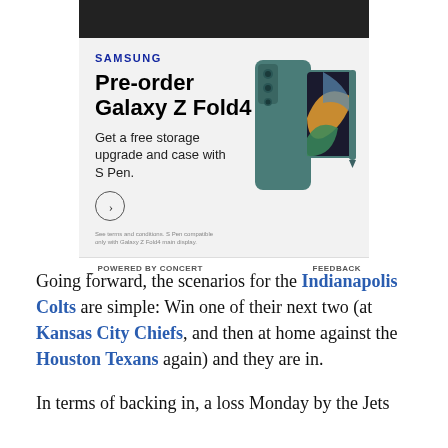[Figure (illustration): Samsung advertisement for Galaxy Z Fold4 pre-order showing phone image, logo, headline, subtitle, CTA button and disclaimer, with POWERED BY CONCERT and FEEDBACK footer]
Going forward, the scenarios for the Indianapolis Colts are simple: Win one of their next two (at Kansas City Chiefs, and then at home against the Houston Texans again) and they are in.
In terms of backing in, a loss Monday by the Jets would help to New York...